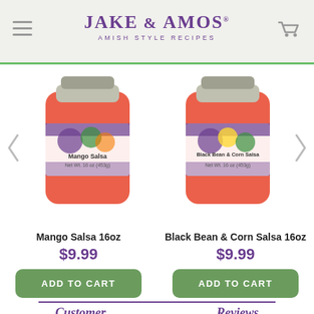[Figure (logo): Jake & Amos Amish Style Recipes logo with hamburger menu and shopping cart icon in a light gray header bar with green top border]
[Figure (photo): Two product jars shown in a carousel: Mango Salsa 16oz jar on the left and Black Bean & Corn Salsa 16oz jar on the right, both with colorful labels showing vegetables, orange salsa visible through glass]
Mango Salsa 16oz
$9.99
ADD TO CART
Black Bean & Corn Salsa 16oz
$9.99
ADD TO CART